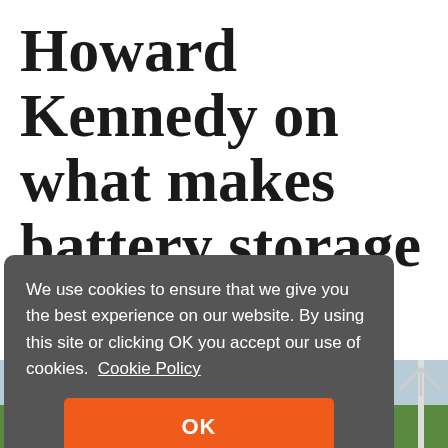Howard Kennedy on what makes battery storage ‘bankable’
We use cookies to ensure that we give you the best experience on our website. By using this site or clicking OK you accept our use of cookies. Cookie Policy
[Figure (photo): Partial view of a wind turbine and green field at the bottom right of the page, partially obscured by the cookie consent overlay]